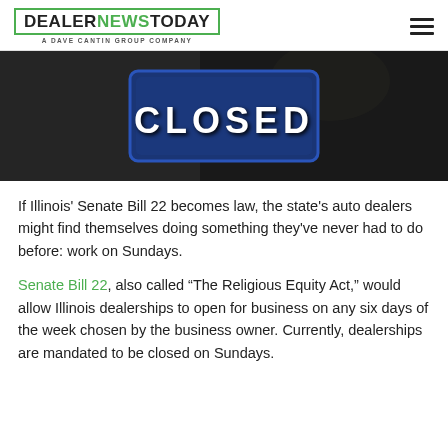DEALER NEWS TODAY — A DAVE CANTIN GROUP COMPANY
[Figure (photo): A dark background with a blue 'CLOSED' sign hanging in a window, with bokeh lighting effects around it.]
If Illinois' Senate Bill 22 becomes law, the state's auto dealers might find themselves doing something they've never had to do before: work on Sundays.
Senate Bill 22, also called "The Religious Equity Act," would allow Illinois dealerships to open for business on any six days of the week chosen by the business owner. Currently, dealerships are mandated to be closed on Sundays.